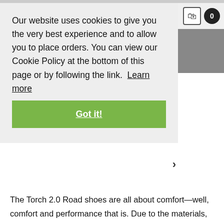Our website uses cookies to give you the very best experience and to allow you to place orders. You can view our Cookie Policy at the bottom of this page or by following the link.  Learn more
Got it!
The Torch 2.0 Road shoes are all about comfort—well, comfort and performance that is. Due to the materials, road shoes often feel stiff and uncomfortable. We decided to address this annoyance head on, though. To do so, we've implemented a 100% mesh and TPU construction on the Torch 2.0 that allows for more wiggle room in the toe box and a less constrictive, sock-like feel.